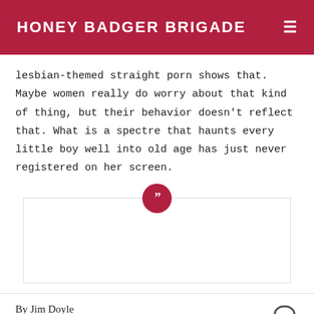HONEY BADGER BRIGADE
lesbian-themed straight porn shows that. Maybe women really do worry about that kind of thing, but their behavior doesn't reflect that. What is a spectre that haunts every little boy well into old age has just never registered on her screen.
[Figure (other): Blockquote section with crimson circle containing right double quotation marks and an empty bordered box below]
By Jim Doyle
August 6, 2012